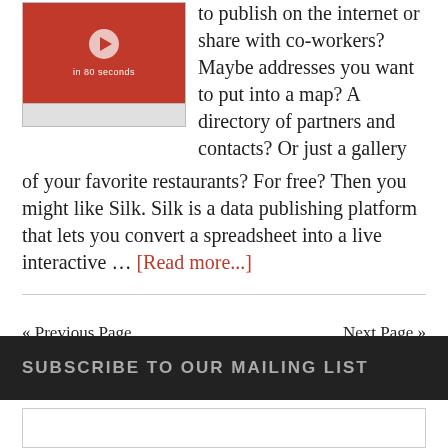[Figure (screenshot): Screenshot of a video thumbnail with red background, play button, and text 'in 80 seconds']
to publish on the internet or share with co-workers? Maybe addresses you want to put into a map? A directory of partners and contacts? Or just a gallery of your favorite restaurants? For free? Then you might like Silk. Silk is a data publishing platform that lets you convert a spreadsheet into a live interactive … [Read more...]
« Previous Page
Next Page »
SUBSCRIBE TO OUR MAILING LIST